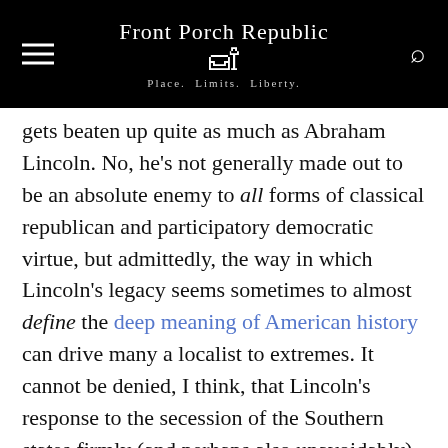Front Porch Republic — Place. Limits. Liberty.
gets beaten up quite as much as Abraham Lincoln. No, he's not generally made out to be an absolute enemy to all forms of classical republican and participatory democratic virtue, but admittedly, the way in which Lincoln's legacy seems sometimes to almost define the deep meaning of American history can drive many a localist to extremes. It cannot be denied, I think, that Lincoln's response to the secession of the Southern states firmly (and perhaps also unavoidably) tied the forces of America's national government and economy to industrial capitalism, entrepreneurial expansion, and liberal